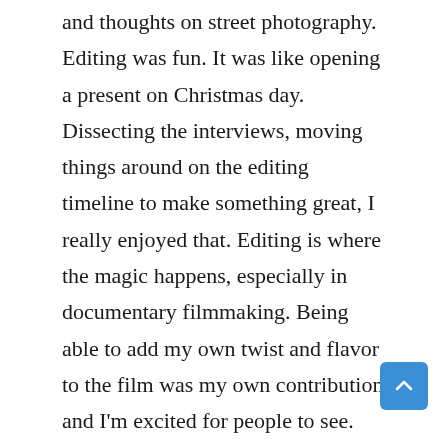and thoughts on street photography. Editing was fun. It was like opening a present on Christmas day. Dissecting the interviews, moving things around on the editing timeline to make something great, I really enjoyed that. Editing is where the magic happens, especially in documentary filmmaking. Being able to add my own twist and flavor to the film was my own contribution and I'm excited for people to see.
What did you as an artist learn from producing this film?
The main thing I learned was that everyone is just